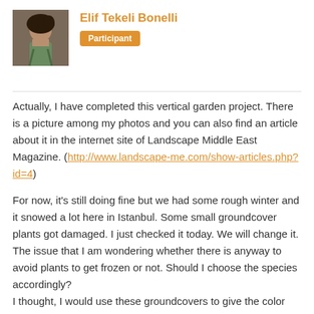[Figure (photo): Profile photo of a woman with dark curly hair]
Elif Tekeli Bonelli
Participant
Actually, I have completed this vertical garden project. There is a picture among my photos and you can also find an article about it in the internet site of Landscape Middle East Magazine. (http://www.landscape-me.com/show-articles.php?id=4)
For now, it's still doing fine but we had some rough winter and it snowed a lot here in Istanbul. Some small groundcover plants got damaged. I just checked it today. We will change it.
The issue that I am wondering whether there is anyway to avoid plants to get frozen or not. Should I choose the species accordingly?
I thought, I would use these groundcovers to give the color and the flower that the client was requesting to see, then i would change it before spring. Of course, at the same time I have